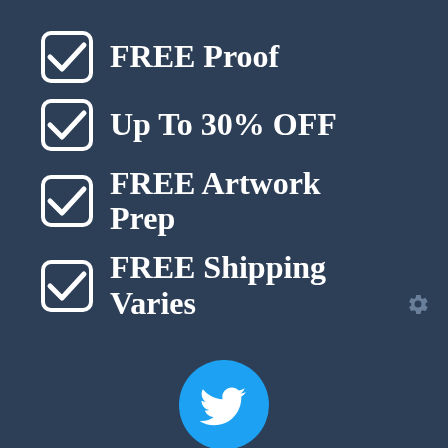FREE Proof
Up To 30% OFF
FREE Artwork Prep
FREE Shipping Varies
[Figure (illustration): Settings/gear icon in muted blue-gray color]
[Figure (logo): Twitter bird logo in white on cyan/blue circle]
[Figure (logo): Facebook 'f' logo in white on dark blue circle]
[Figure (logo): Partial third social media circle at bottom edge]